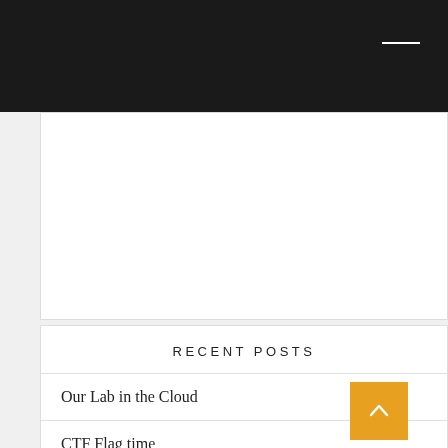Search ...
RECENT POSTS
Our Lab in the Cloud
CTF Flag time
What I learned from the Equifax hack
HackItForward
WTFn00b!